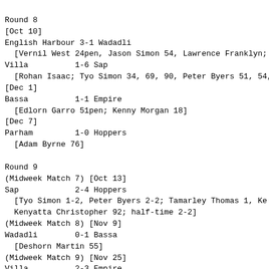Round 8
[Oct 10]
English Harbour 3-1 Wadadli
  [Vernil West 24pen, Jason Simon 54, Lawrence Franklyn;
Villa          1-6 Sap
  [Rohan Isaac; Tyo Simon 34, 69, 90, Peter Byers 51, 54,
[Dec 1]
Bassa          1-1 Empire
  [Edlorn Garro 51pen; Kenny Morgan 18]
[Dec 7]
Parham         1-0 Hoppers
  [Adam Byrne 76]
Round 9
(Midweek Match 7) [Oct 13]
Sap            2-4 Hoppers
  [Tyo Simon 1-2, Peter Byers 2-2; Tamarley Thomas 1, Ke]
  Kenyatta Christopher 92; half-time 2-2]
(Midweek Match 8) [Nov 9]
Wadadli        0-1 Bassa
  [Deshorn Martin 55]
(Midweek Match 9) [Nov 25]
Villa          2-3 Empire
  [Rowan Isaac 52, Arnold James 76pen; Kenny Morgan 38, 4
  Errol Barnes 40]
(Midweek Match 10) [Nov 30]
English Harbour 1-1 Parham
  [Omarlie Samuel; Winston Roberts]
Round 10